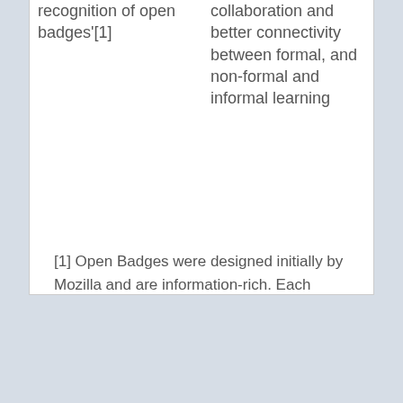| recognition of open badges'[1] | collaboration and better connectivity between formal, and non-formal and informal learning |
[1] Open Badges were designed initially by Mozilla and are information-rich. Each badge has important data built in that links back to the issuer, criteria and verifying evidence, website : http://openbadges.org/